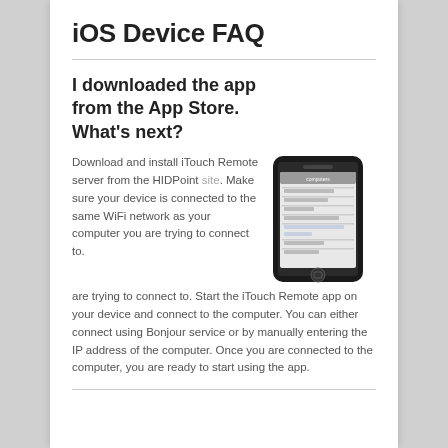iOS Device FAQ
I downloaded the app from the App Store. What's next?
[Figure (photo): Screenshot of an iPhone showing the iTouch Remote app interface with a list of computers]
Download and install iTouch Remote server from the HIDPoint site. Make sure your device is connected to the same WiFi network as your computer you are trying to connect to. Start the iTouch Remote app on your device and connect to the computer. You can either connect using Bonjour service or by manually entering the IP address of the computer. Once you are connected to the computer, you are ready to start using the app.